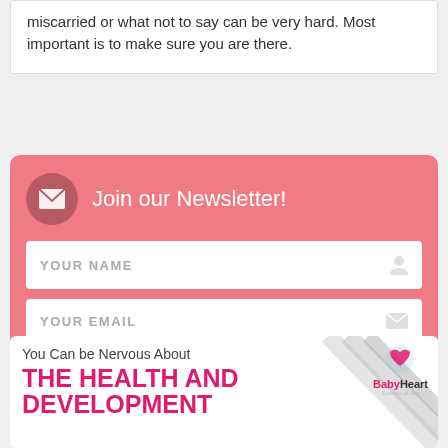miscarried or what not to say can be very hard. Most important is to make sure you are there.
[Figure (infographic): Newsletter signup widget with pink background, email icon, 'Join our Newsletter!' heading, name and email input fields, and a teal Submit button]
[Figure (infographic): Banner ad: 'You Can be Nervous About THE HEALTH AND DEVELOPMENT' in bold pink text with BabyHeart logo and diagonal stripe graphic]